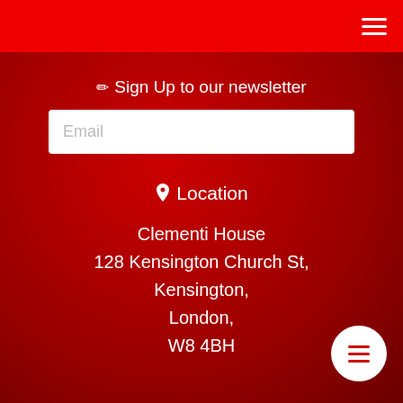Navigation menu (hamburger icon)
Sign Up to our newsletter
Email
Location
Clementi House
128 Kensington Church St,
Kensington,
London,
W8 4BH